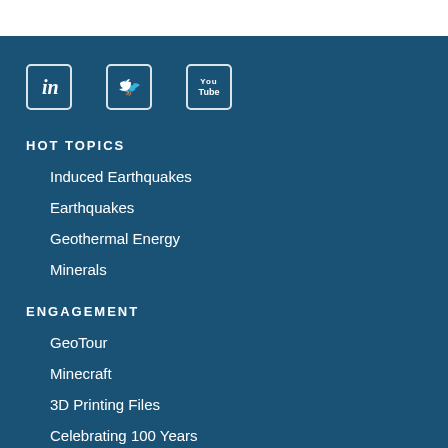[Figure (logo): Social media icons: LinkedIn, Twitter, YouTube]
HOT TOPICS
Induced Earthquakes
Earthquakes
Geothermal Energy
Minerals
ENGAGEMENT
GeoTour
Minecraft
3D Printing Files
Celebrating 100 Years
PUBLICATIONS